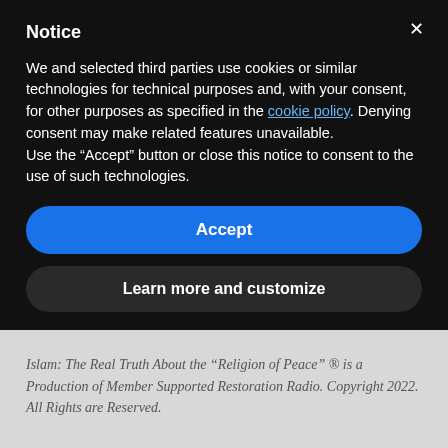Notice
We and selected third parties use cookies or similar technologies for technical purposes and, with your consent, for other purposes as specified in the cookie policy. Denying consent may make related features unavailable.
Use the “Accept” button or close this notice to consent to the use of such technologies.
Accept
Learn more and customize
Islam: The Real Truth About the “Religion of Peace” ® is a Production of Member Supported Restoration Radio. Copyright 2022. All Rights are Reserved.